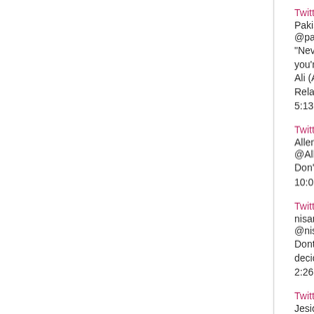Twitter
Pakistani Blogs
@pakblogging
“Never make a promise when you’re happy and ne... you’re angry!”
Ali (A.S.)
Related Stu.. http://bit.ly/seOfg
5:13 AM - 1 Oct 2009
Twitter
Allen Imsong
@AllenImsong
Don’t reply when you are angry.
10:05 PM - 4 Mar 2010
Twitter
nisanlicious 💙
@nisanlicious
Dont promise when you are happy. Dont answer w... decide when you are angry!
2:26 PM - 20 Apr 2010
Twitter
Jesica Bellamy